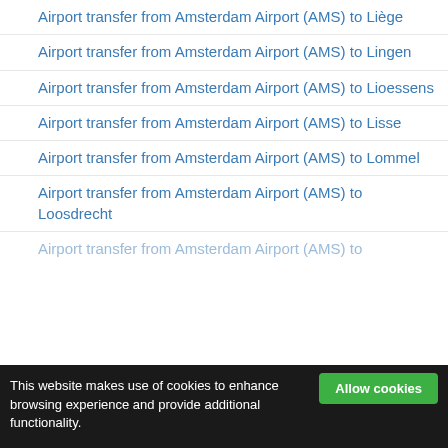Airport transfer from Amsterdam Airport (AMS) to Liège
Airport transfer from Amsterdam Airport (AMS) to Lingen
Airport transfer from Amsterdam Airport (AMS) to Lioessens
Airport transfer from Amsterdam Airport (AMS) to Lisse
Airport transfer from Amsterdam Airport (AMS) to Lommel
Airport transfer from Amsterdam Airport (AMS) to Loosdrecht
Airport transfer from Amsterdam Airport (AMS) to [partial]
This website makes use of cookies to enhance browsing experience and provide additional functionality.